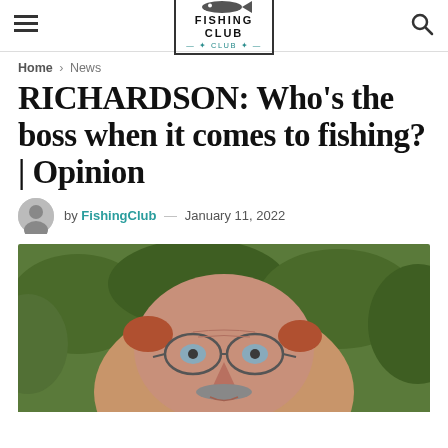FISHING CLUB
Home > News
RICHARDSON: Who's the boss when it comes to fishing? | Opinion
by FishingClub — January 11, 2022
[Figure (photo): Close-up portrait of an older man with glasses and a grey mustache, with green foliage in the background]